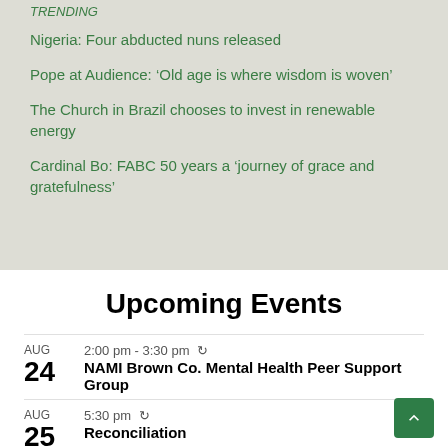TRENDING
Nigeria: Four abducted nuns released
Pope at Audience: ‘Old age is where wisdom is woven’
The Church in Brazil chooses to invest in renewable energy
Cardinal Bo: FABC 50 years a ‘journey of grace and gratefulness’
Upcoming Events
AUG 24 — 2:00 pm - 3:30 pm — NAMI Brown Co. Mental Health Peer Support Group
AUG 25 — 5:30 pm — Reconciliation